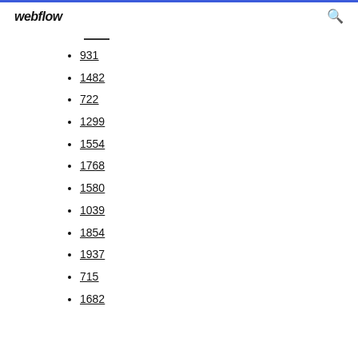webflow
931
1482
722
1299
1554
1768
1580
1039
1854
1937
715
1682